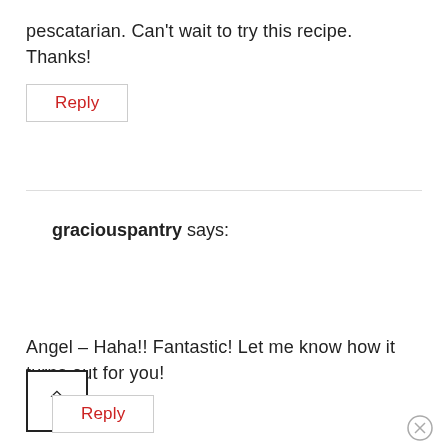pescatarian. Can't wait to try this recipe. Thanks!
Reply
graciouspantry says:
Angel – Haha!! Fantastic! Let me know how it turns out for you!
Reply